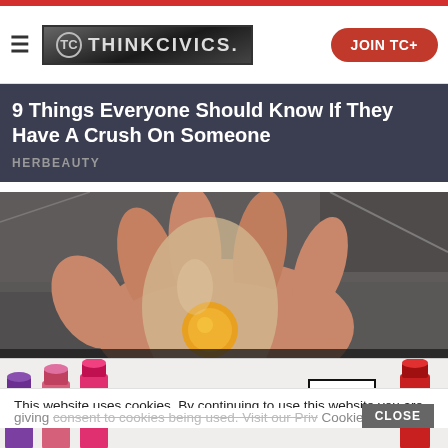THINKCIVICS. | JOIN TC+
9 Things Everyone Should Know If They Have A Crush On Someone
HERBEAUTY
[Figure (photo): A hand holding a translucent shelled egg with visible yellow yolk, placed on a dark table surface.]
How Long Are Eggs Safe To Eat After
This website uses cookies. By continuing to use this website you are giving consent to cookies being used. Visit our Priv... Cookie
[Figure (advertisement): MAC cosmetics advertisement showing lipsticks and a SHOP NOW button.]